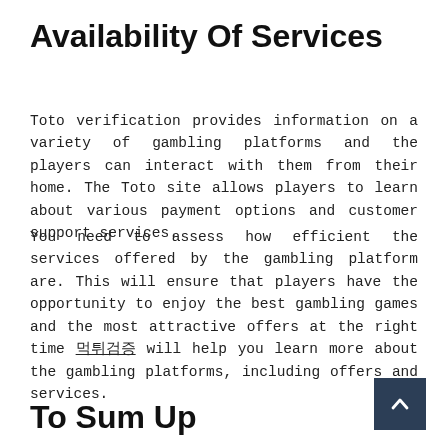Availability Of Services
Toto verification provides information on a variety of gambling platforms and the players can interact with them from their home. The Toto site allows players to learn about various payment options and customer support services.
You need to assess how efficient the services offered by the gambling platform are. This will ensure that players have the opportunity to enjoy the best gambling games and the most attractive offers at the right time 먹튀검증 will help you learn more about the gambling platforms, including offers and services.
To Sum Up